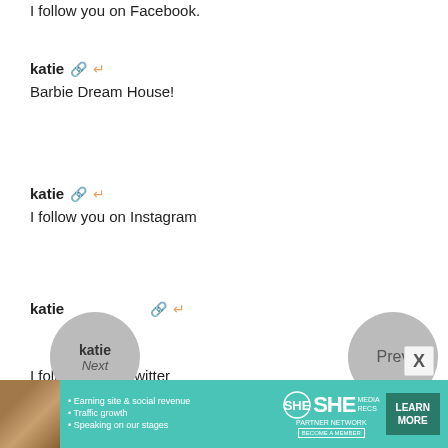I follow you on Facebook.
katie — Barbie Dream House!
katie — I follow you on Instagram
katie — I follow you on twitter
[Figure (other): Navigation circles: 'Next' on left and 'Prev' on right]
[Figure (other): Ad banner for SHE Partner Network with bullet points: Earning site & social revenue, Traffic growth, Speaking on our stages. Includes LEARN MORE button.]